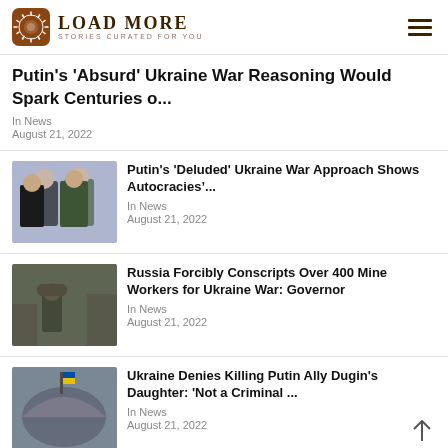Load More — Stories Curated For You
Putin's 'Absurd' Ukraine War Reasoning Would Spark Centuries o...
In News
August 21, 2022
[Figure (photo): Two men in formal attire, one in military uniform]
Putin's 'Deluded' Ukraine War Approach Shows Autocracies&#8217;...
In News
August 21, 2022
[Figure (photo): Soldier in military gear in destroyed urban area]
Russia Forcibly Conscripts Over 400 Mine Workers for Ukraine War: Governor
In News
August 21, 2022
[Figure (photo): Dome of a government building with Ukrainian flag]
Ukraine Denies Killing Putin Ally Dugin's Daughter: 'Not a Criminal ...
In News
August 21, 2022